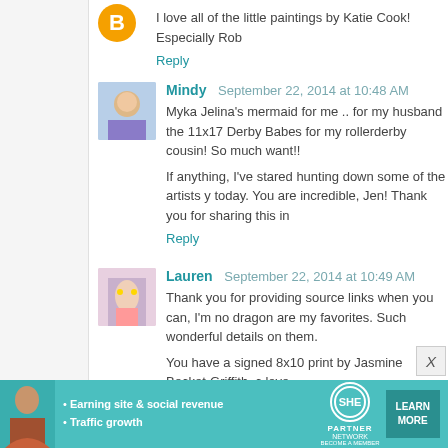I love all of the little paintings by Katie Cook! Especially Rob
Reply
Mindy  September 22, 2014 at 10:48 AM
Myka Jelina's mermaid for me .. for my husband the 11x17 Derby Babes for my rollerderby cousin! So much want!!
If anything, I've stared hunting down some of the artists y today. You are incredible, Jen! Thank you for sharing this in
Reply
Lauren  September 22, 2014 at 10:49 AM
Thank you for providing source links when you can, I'm no dragon are my favorites. Such wonderful details on them.
You have a signed 8x10 print by Jasmine Becket-Griffith, c love.
Reply
[Figure (infographic): SHE Partner Network advertisement banner with woman photo, bullet points about Earning site & social revenue and Traffic growth, SHE logo, and LEARN MORE button]